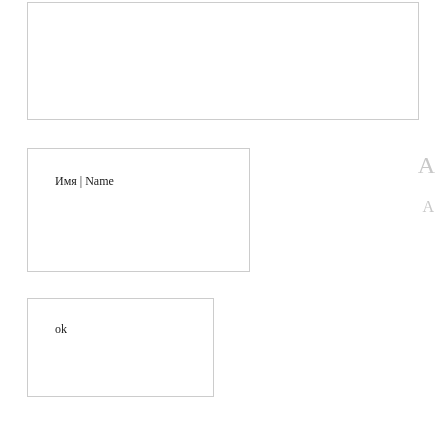[Figure (other): Empty bordered rectangle box at top of page]
Имя | Name
ok